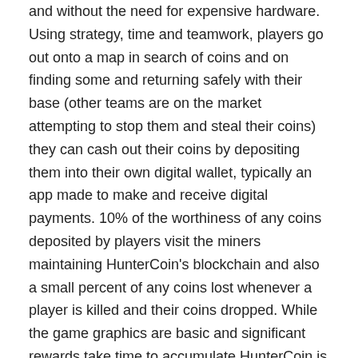and without the need for expensive hardware. Using strategy, time and teamwork, players go out onto a map in search of coins and on finding some and returning safely with their base (other teams are on the market attempting to stop them and steal their coins) they can cash out their coins by depositing them into their own digital wallet, typically an app made to make and receive digital payments. 10% of the worthiness of any coins deposited by players visit the miners maintaining HunterCoin's blockchain and also a small percent of any coins lost whenever a player is killed and their coins dropped. While the game graphics are basic and significant rewards take time to accumulate HunterCoin is an experiment that might be seen as the first video game with monetary reward built in as a primary function.
Though still in development VoidSpace is a more polished approach towards gaming in a functioning economy. A Massively Multiplayer Online Roleplaying Game (MMORPG), VoidSpace is defined in space where players explore an ever-growing universe,